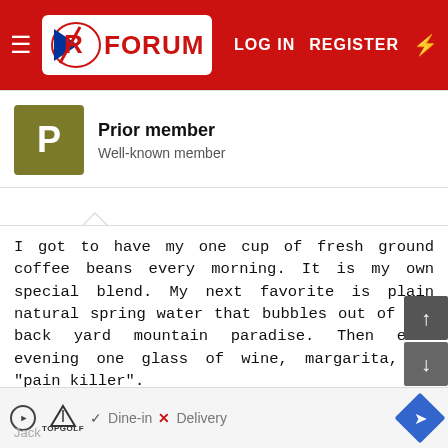RX FORUM  LOG IN  REGISTER
Prior member
Well-known member
I got to have my one cup of fresh ground coffee beans every morning. It is my own special blend. My next favorite is plain natural spring water that bubbles out of our back yard mountain paradise. Then each evening one glass of wine, margarita, or "pain killer".
Pain Killer being the favorite, but the least available since so much goes into the prep.
My days of singing "M-I-C-K-E-Y  M-O-U-S-E " on top of a table ended when I left the work force many moons ago!
Dine-in  X Delivery  Jack